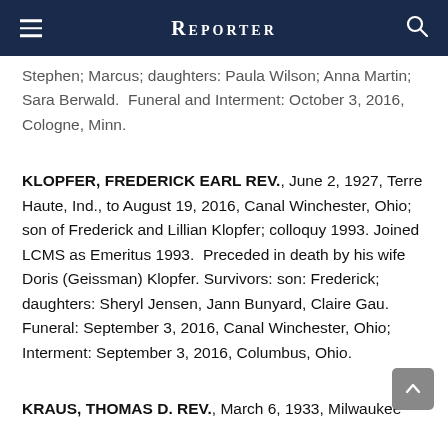Reporter
Stephen; Marcus; daughters: Paula Wilson; Anna Martin; Sara Berwald.  Funeral and Interment: October 3, 2016, Cologne, Minn.
KLOPFER, FREDERICK EARL REV., June 2, 1927, Terre Haute, Ind., to August 19, 2016, Canal Winchester, Ohio; son of Frederick and Lillian Klopfer; colloquy 1993. Joined LCMS as Emeritus 1993.  Preceded in death by his wife Doris (Geissman) Klopfer. Survivors: son: Frederick; daughters: Sheryl Jensen, Jann Bunyard, Claire Gau. Funeral: September 3, 2016, Canal Winchester, Ohio; Interment: September 3, 2016, Columbus, Ohio.
KRAUS, THOMAS D. REV., March 6, 1933, Milwaukee